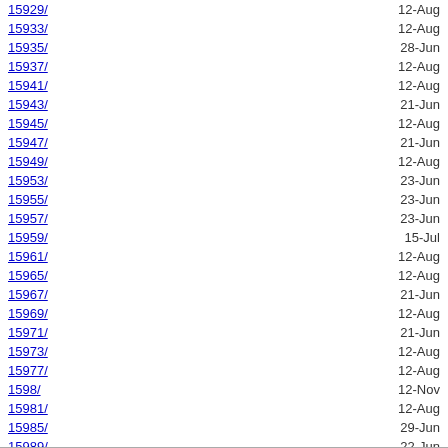15929/ | 12-Aug
15933/ | 12-Aug
15935/ | 28-Jun
15937/ | 12-Aug
15941/ | 12-Aug
15943/ | 21-Jun
15945/ | 12-Aug
15947/ | 21-Jun
15949/ | 12-Aug
15953/ | 23-Jun
15955/ | 23-Jun
15957/ | 23-Jun
15959/ | 15-Jul
15961/ | 12-Aug
15965/ | 12-Aug
15967/ | 21-Jun
15969/ | 12-Aug
15971/ | 21-Jun
15973/ | 12-Aug
15977/ | 12-Aug
1598/ | 12-Nov
15981/ | 12-Aug
15985/ | 29-Jun
15989/ | 22-Jun
15993/ | 12-Aug
15995/ | 01-Dec
15997/ | 12-Aug
15999/ | 01-Dec